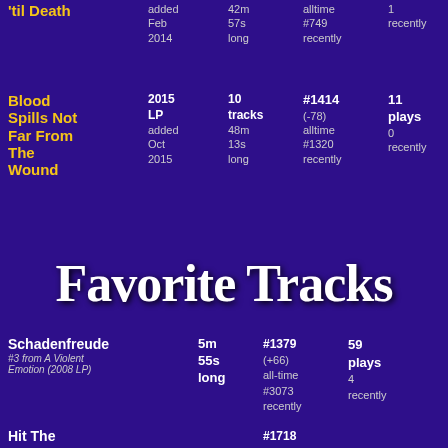'Til Death album row: 2015 LP added Feb 2014, 42m 57s long, alltime #749 recently, 1 recently
Blood Spills Not Far From The Wound: 2015 LP added Oct 2015, 10 tracks 48m 13s long, #1414 (-78) alltime #1320 recently, 11 plays 0 recently
Favorite Tracks
Schadenfreude, #3 from A Violent Emotion (2008 LP), 5m 55s long, #1379 (+66) all-time #3073 recently, 59 plays 4 recently
Hit The... #1718